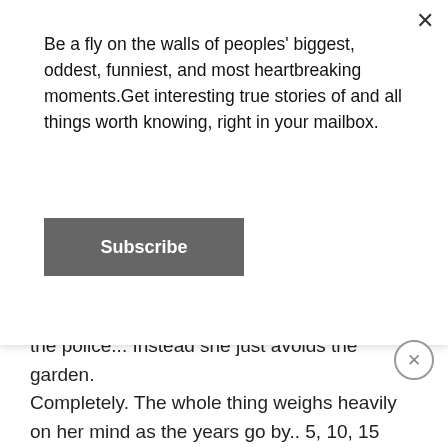Be a fly on the walls of peoples' biggest, oddest, funniest, and most heartbreaking moments.Get interesting true stories of and all things worth knowing, right in your mailbox.
Subscribe
the police... Instead she just avoids the garden. Completely. The whole thing weighs heavily on her mind as the years go by.. 5, 10, 15 years (I forget how long exactly but it was at least a decade) until one day she can't take it anymore and calls the police to report the bones.
My dad goes out to investigate, in to the garden where she shows him roughly where they were.
He digs around a little (this was the 80s and apparently they were less concerned with